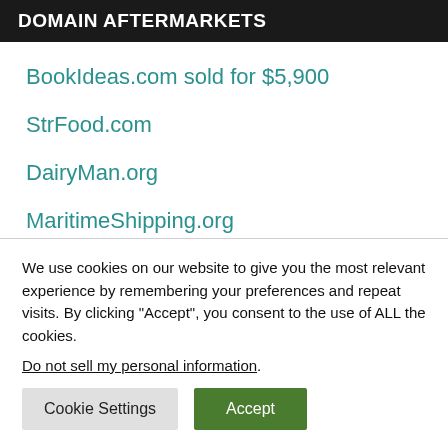DOMAIN AFTERMARKETS
BookIdeas.com sold for $5,900
StrFood.com
DairyMan.org
MaritimeShipping.org
We use cookies on our website to give you the most relevant experience by remembering your preferences and repeat visits. By clicking “Accept”, you consent to the use of ALL the cookies. Do not sell my personal information.
Cookie Settings | Accept